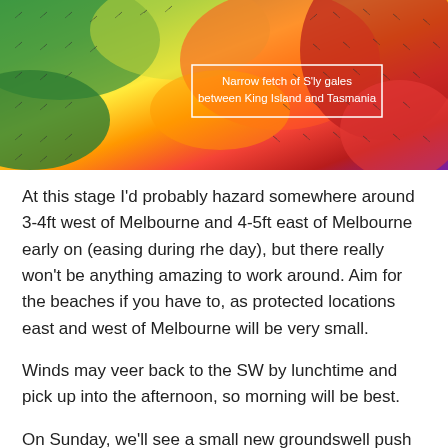[Figure (map): Weather/ocean swell map showing color-coded wind or wave intensity from green to red, with small arrow indicators showing wind direction. A white rectangle annotation box overlaid on the map reads: 'Narrow fetch of S'ly gales between King Island and Tasmania']
At this stage I'd probably hazard somewhere around 3-4ft west of Melbourne and 4-5ft east of Melbourne early on (easing during rhe day), but there really won't be anything amazing to work around. Aim for the beaches if you have to, as protected locations east and west of Melbourne will be very small.
Winds may veer back to the SW by lunchtime and pick up into the afternoon, so morning will be best.
On Sunday, we'll see a small new groundswell push into the region, though I'm not confident there'll be enough size west of Melbourne to make it worthwhile (slow 1-2ft sets, though clean with light W/NW winds).
East of Melbourne will pick up bigger waves in the 3ft range though winds will hold from the western quadrant.
All in all, it's shaping up to be pretty much a forgettable